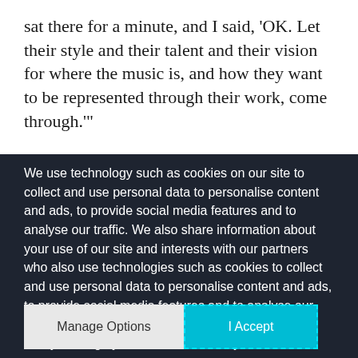sat there for a minute, and I said, 'OK. Let their style and their talent and their vision for where the music is, and how they want to be represented through their work, come through.'"  Moran wants to liberate audiences to explore and expand their own tastes, too. For his inaugural season
We use technology such as cookies on our site to collect and use personal data to personalise content and ads, to provide social media features and to analyse our traffic. We also share information about your use of our site and interests with our partners who also use technologies such as cookies to collect and use personal data to personalise content and ads, to provide social media features and to analyse our traffic on our site and across the internet. You can always change your mind and revisit your choices.